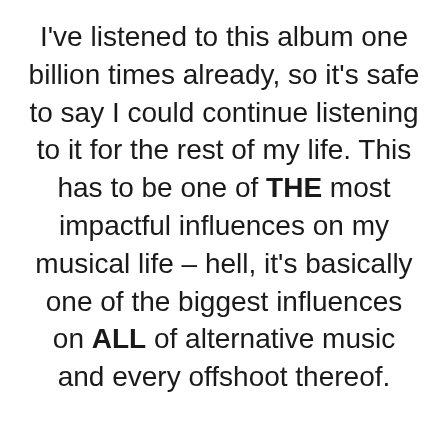I've listened to this album one billion times already, so it's safe to say I could continue listening to it for the rest of my life. This has to be one of THE most impactful influences on my musical life – hell, it's basically one of the biggest influences on ALL of alternative music and every offshoot thereof.